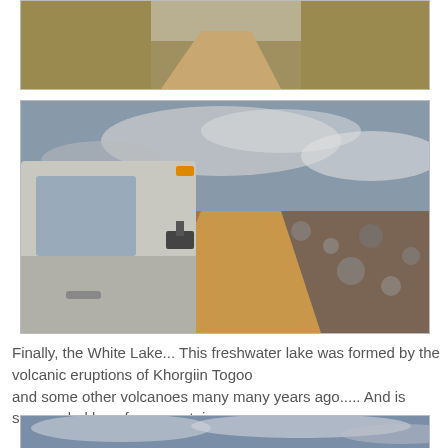[Figure (photo): Partial view of a dirt road with dry grassland, cropped top portion]
[Figure (photo): A white van/vehicle on a rocky dirt road through a barren landscape with cloudy sky]
Finally, the White Lake... This freshwater lake was formed by the volcanic eruptions of Khorgiin Togoo and some other volcanoes many many years ago..... And is surrounded by a few mountainous ranges.....
[Figure (photo): Cloudy sky over a flat landscape, partially visible at bottom of page]